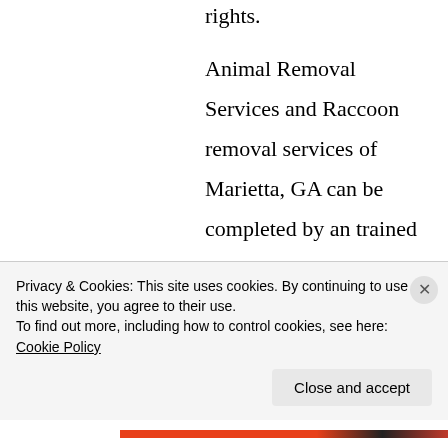rights.
Animal Removal Services and Raccoon removal services of Marietta, GA can be completed by an trained Animal removal agent. Once you realize that you have a raccoon removal issue it is wise to call a trained professional. The Feces can become impacted into the insulation and this
Privacy & Cookies: This site uses cookies. By continuing to use this website, you agree to their use.
To find out more, including how to control cookies, see here: Cookie Policy
Close and accept